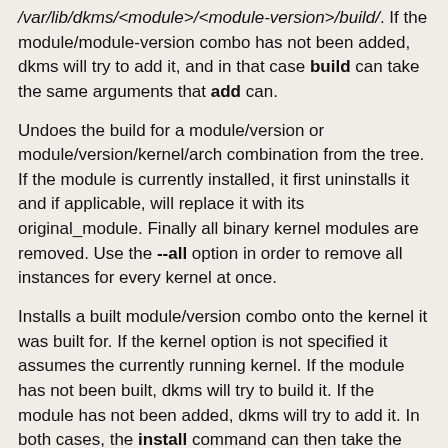/var/lib/dkms/<module>/<module-version>/build/. If the module/module-version combo has not been added, dkms will try to add it, and in that case build can take the same arguments that add can.
Undoes the build for a module/version or module/version/kernel/arch combination from the tree. If the module is currently installed, it first uninstalls it and if applicable, will replace it with its original_module. Finally all binary kernel modules are removed. Use the --all option in order to remove all instances for every kernel at once.
Installs a built module/version combo onto the kernel it was built for. If the kernel option is not specified it assumes the currently running kernel. If the module has not been built, dkms will try to build it. If the module has not been added, dkms will try to add it. In both cases, the install command can then take the same arguments as the build or add commands. If you pass a .rpm file, dkms will try to install that file with rpm -Uvh , and it will perform an autc that everything is built for COLLAPSE ALL installed successfully.